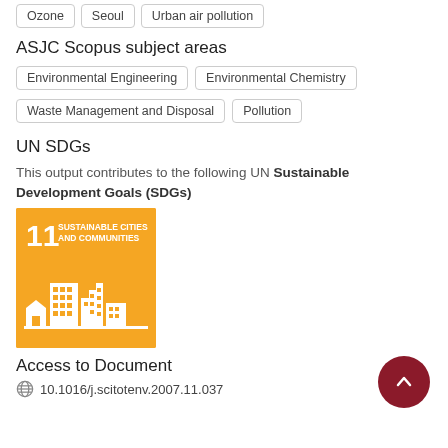Ozone
Seoul
Urban air pollution
ASJC Scopus subject areas
Environmental Engineering
Environmental Chemistry
Waste Management and Disposal
Pollution
UN SDGs
This output contributes to the following UN Sustainable Development Goals (SDGs)
[Figure (logo): SDG 11 badge - Sustainable Cities and Communities, orange background with white building icons]
Access to Document
10.1016/j.scitotenv.2007.11.037